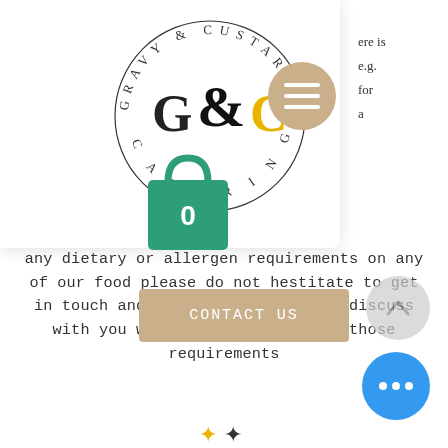[Figure (logo): Gravy & Custard Catering circular logo with letters G&C in the center, text around the circle, teal shopping bag with 0, and hamburger menu button]
...here is e.g. for a
any dietary or allergen requirements on any of our food please do not hestitate to get in touch and we would be happy to discuss with you what we can do to meet those requirements
[Figure (other): CONTACT US button in tan/beige color]
[Figure (other): Blue circle chat bubble with three dots, grey circle scroll-to-top arrow, and partial decorative footer logo]